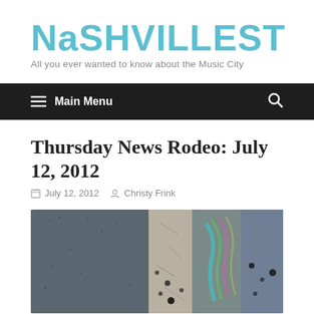NASHVILLEST
All you ever wanted to know about the Music City
Main Menu
Thursday News Rodeo: July 12, 2012
July 12, 2012  Christy Frink
[Figure (photo): Close-up photo of wet asphalt pavement with colorful oil slick rainbow pattern visible on the surface]